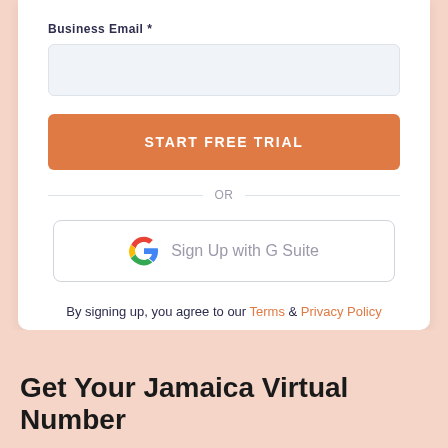Business Email *
[Figure (screenshot): Email input field, empty, light blue-gray background]
START FREE TRIAL
OR
[Figure (screenshot): Sign Up with G Suite button with Google G logo]
By signing up, you agree to our Terms & Privacy Policy
Get Your Jamaica Virtual Number